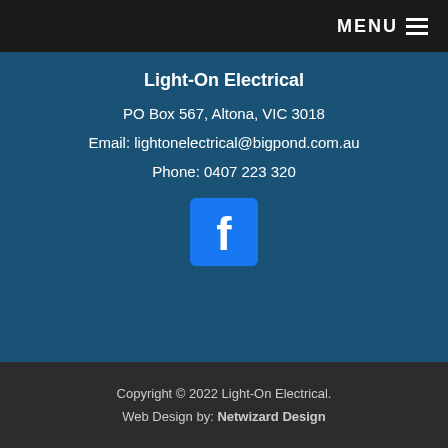MENU ☰
Light-On Electrical
PO Box 567, Altona, VIC 3018
Email: lightonelectrical@bigpond.com.au
Phone: 0407 223 320
[Figure (logo): Facebook logo icon — white 'f' on blue square background]
Copyright © 2022 Light-On Electrical.
Web Design by: Netwizard Design